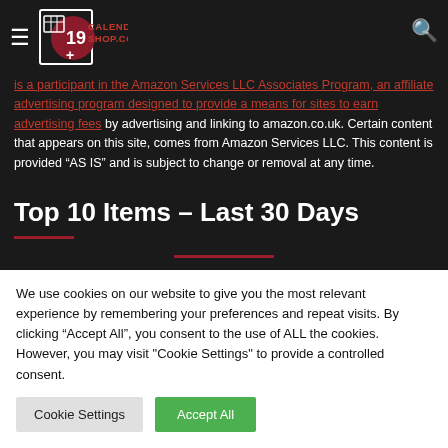[Figure (logo): CalendarsShop.com logo with dark red circle and calendar icon on dark background]
is a participant in the Amazon Services LLC Associates Program, an affiliate advertising program designed to provide a means for sites to earn advertising fees by advertising and linking to amazon.co.uk. Certain content that appears on this site, comes from Amazon Services LLC. This content is provided “AS IS” and is subject to change or removal at any time.
Top 10 Items – Last 30 Days
We use cookies on our website to give you the most relevant experience by remembering your preferences and repeat visits. By clicking “Accept All”, you consent to the use of ALL the cookies. However, you may visit "Cookie Settings" to provide a controlled consent.